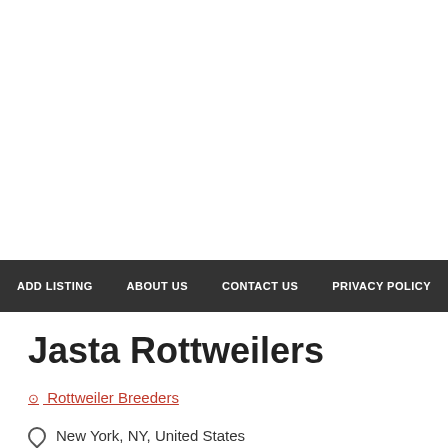ADD LISTING | ABOUT US | CONTACT US | PRIVACY POLICY
Jasta Rottweilers
⊙ Rottweiler Breeders
New York, NY, United States